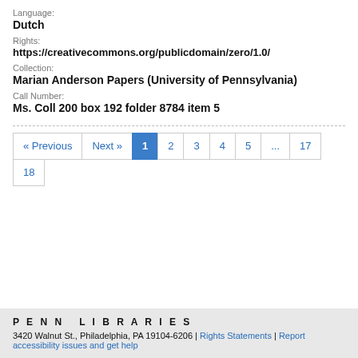Language:
Dutch
Rights:
https://creativecommons.org/publicdomain/zero/1.0/
Collection:
Marian Anderson Papers (University of Pennsylvania)
Call Number:
Ms. Coll 200 box 192 folder 8784 item 5
Pagination: « Previous, Next », 1, 2, 3, 4, 5, ..., 17, 18
PENN LIBRARIES
3420 Walnut St., Philadelphia, PA 19104-6206 | Rights Statements | Report accessibility issues and get help